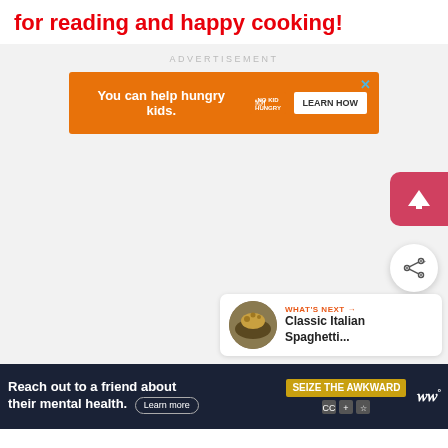for reading and happy cooking!
[Figure (screenshot): Orange advertisement banner: 'You can help hungry kids.' with No Kid Hungry logo and 'LEARN HOW' button, with close X button, on light gray background with 'ADVERTISEMENT' label above]
[Figure (screenshot): Light gray content area with a red/pink scroll-to-top button (arrow up) on right side, a white circular share button, and a 'WHAT'S NEXT' card showing 'Classic Italian Spaghetti...' with a food image thumbnail]
[Figure (screenshot): Dark navy bottom advertisement bar: 'Reach out to a friend about their mental health. Learn more' with 'SEIZE THE AWKWARD' badge and W° logo icon]